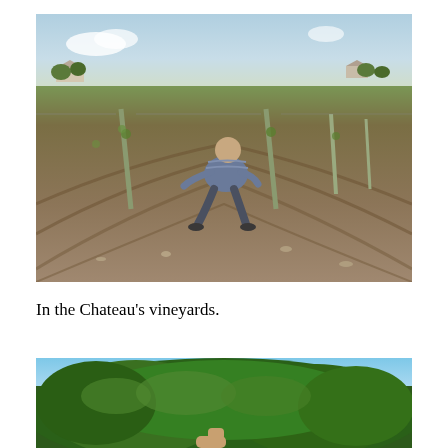[Figure (photo): A person crouching among rows of grapevines in a vineyard. The vines are young with green leaves supported by wooden stakes. The soil is brown and rocky. Farm buildings and trees are visible in the far background under a partly cloudy sky.]
In the Chateau's vineyards.
[Figure (photo): A partial photo showing a large green leafy tree against a blue sky, with a hand or person partially visible at the bottom edge.]